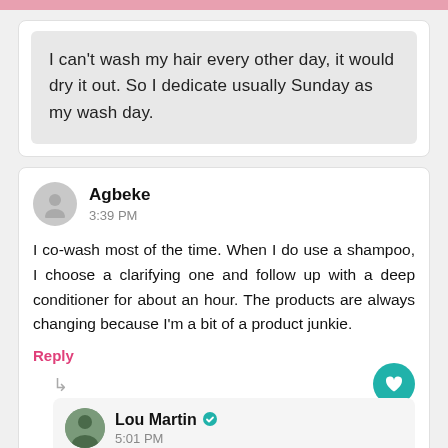I can't wash my hair every other day, it would dry it out. So I dedicate usually Sunday as my wash day.
Agbeke
3:39 PM
I co-wash most of the time. When I do use a shampoo, I choose a clarifying one and follow up with a deep conditioner for about an hour. The products are always changing because I'm a bit of a product junkie.
Reply
Lou Martin
5:01 PM
I'm a product junkie too! I'm really trying to